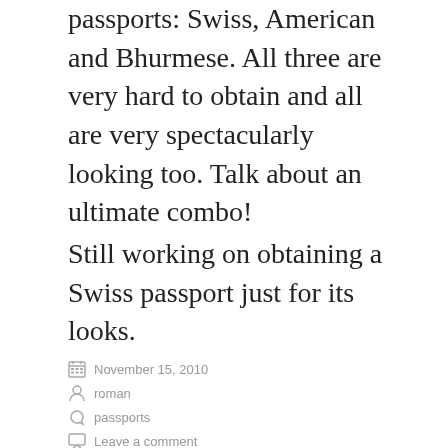passports: Swiss, American and Bhurmese. All three are very hard to obtain and all are very spectacularly looking too. Talk about an ultimate combo!
Still working on obtaining a Swiss passport just for its looks.
November 15, 2010
roman
passports
Leave a comment